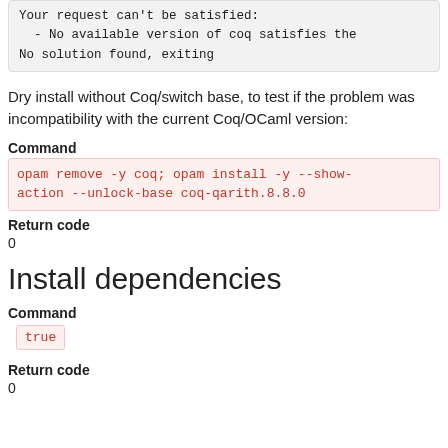Your request can't be satisfied:
  - No available version of coq satisfies the
No solution found, exiting
Dry install without Coq/switch base, to test if the problem was incompatibility with the current Coq/OCaml version:
Command
opam remove -y coq; opam install -y --show-action --unlock-base coq-qarith.8.8.0
Return code
0
Install dependencies
Command
true
Return code
0